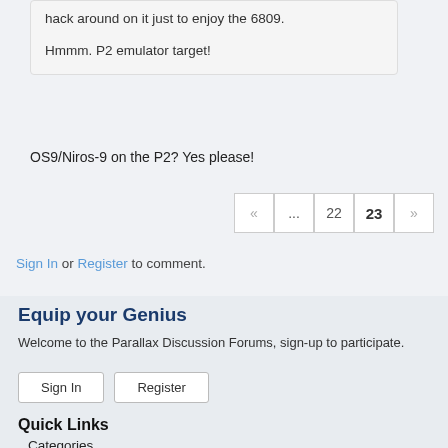hack around on it just to enjoy the 6809.

Hmmm. P2 emulator target!
OS9/Niros-9 on the P2? Yes please!
« ... 22 23 »
Sign In or Register to comment.
Equip your Genius
Welcome to the Parallax Discussion Forums, sign-up to participate.
Sign In   Register
Quick Links
Categories
Recent Discussions